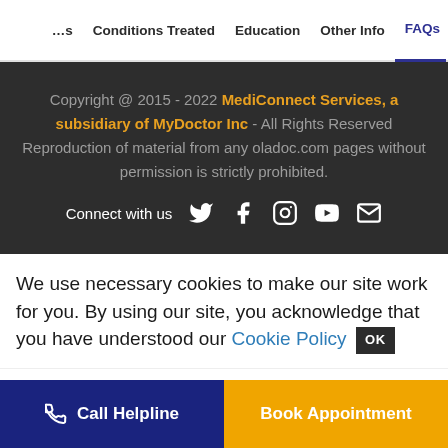Conditions Treated   Education   Other Info   FAQs
Copyright @ 2015 - 2022 MediConnect Services, a subsidiary of MyDoctor Inc - All Rights Reserved Reproduction of material from any oladoc.com pages without permission is strictly prohibited. Connect with us
We use necessary cookies to make our site work for you. By using our site, you acknowledge that you have understood our Cookie Policy OK
Call Helpline   Book Appointment